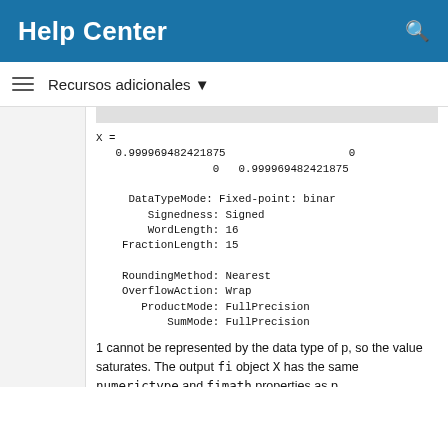Help Center
Recursos adicionales ▼
X =
   0.999969482421875                   0
                  0   0.999969482421875

     DataTypeMode: Fixed-point: binar
        Signedness: Signed
        WordLength: 16
    FractionLength: 15

    RoundingMethod: Nearest
    OverflowAction: Wrap
       ProductMode: FullPrecision
           SumMode: FullPrecision
1 cannot be represented by the data type of p, so the value saturates. The output fi object X has the same numerictype and fimath properties as p.